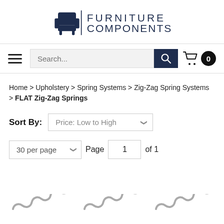[Figure (logo): Furniture Components logo with armchair icon and text FURNITURE COMPONENTS]
[Figure (screenshot): Navigation bar with hamburger menu, search box, and cart icon showing 0 items]
Home > Upholstery > Spring Systems > Zig-Zag Spring Systems > FLAT Zig-Zag Springs
Sort By: Price: Low to High
30 per page  Page 1 of 1
[Figure (photo): Three product thumbnail images of flat zig-zag springs at bottom of page]